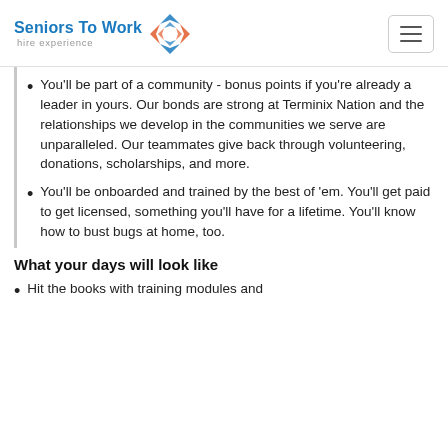Seniors To Work hire experience
You'll be part of a community - bonus points if you're already a leader in yours. Our bonds are strong at Terminix Nation and the relationships we develop in the communities we serve are unparalleled. Our teammates give back through volunteering, donations, scholarships, and more.
You'll be onboarded and trained by the best of 'em. You'll get paid to get licensed, something you'll have for a lifetime. You'll know how to bust bugs at home, too.
What your days will look like
Hit the books with training modules and